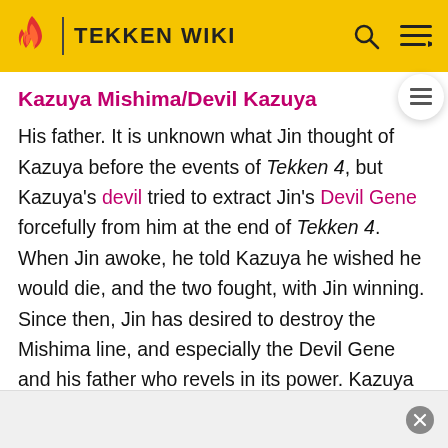TEKKEN WIKI
Kazuya Mishima/Devil Kazuya
His father. It is unknown what Jin thought of Kazuya before the events of Tekken 4, but Kazuya's devil tried to extract Jin's Devil Gene forcefully from him at the end of Tekken 4. When Jin awoke, he told Kazuya he wished he would die, and the two fought, with Jin winning. Since then, Jin has desired to destroy the Mishima line, and especially the Devil Gene and his father who revels in its power. Kazuya and Jin have not come into direct contact since, but Kazuya opposed the war Jin started with the Mishima Zaibatsu by taking over and militarizing G